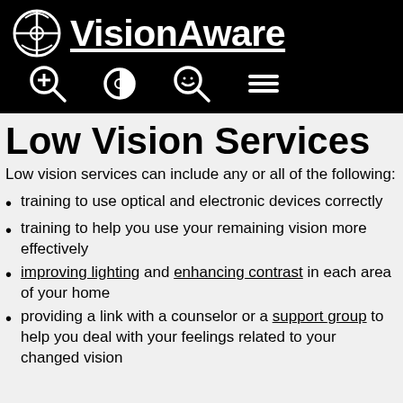APH VisionAware
Low Vision Services
Low vision services can include any or all of the following:
training to use optical and electronic devices correctly
training to help you use your remaining vision more effectively
improving lighting and enhancing contrast in each area of your home
providing a link with a counselor or a support group to help you deal with your feelings related to your changed vision